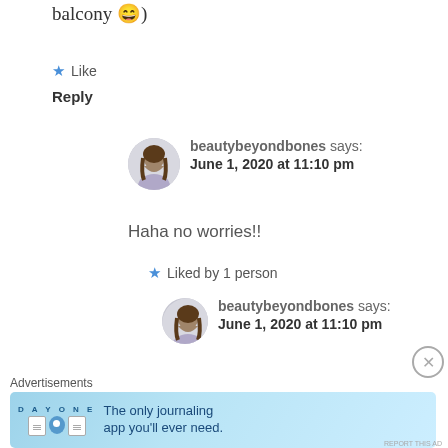balcony 😄)
★ Like
Reply
beautybeyondbones says:
June 1, 2020 at 11:10 pm
Haha no worries!!
★ Liked by 1 person
beautybeyondbones says:
June 1, 2020 at 11:10 pm
Advertisements
[Figure (infographic): DAY ONE journaling app advertisement banner with text: The only journaling app you'll ever need.]